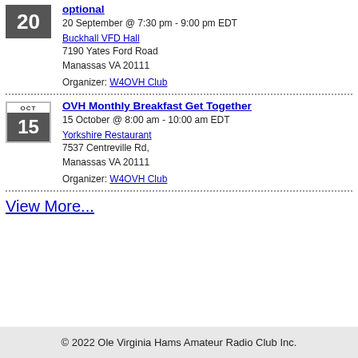optional
20 September @ 7:30 pm - 9:00 pm EDT
Buckhall VFD Hall
7190 Yates Ford Road
Manassas VA 20111
Organizer: W4OVH Club
OVH Monthly Breakfast Get Together
15 October @ 8:00 am - 10:00 am EDT
Yorkshire Restaurant
7537 Centreville Rd,
Manassas VA 20111
Organizer: W4OVH Club
View More...
© 2022 Ole Virginia Hams Amateur Radio Club Inc.